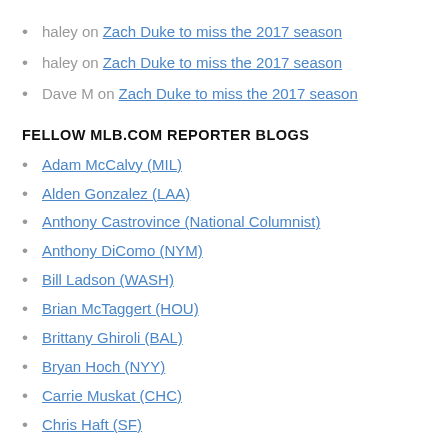haley on Zach Duke to miss the 2017 season
haley on Zach Duke to miss the 2017 season
Dave M on Zach Duke to miss the 2017 season
FELLOW MLB.COM REPORTER BLOGS
Adam McCalvy (MIL)
Alden Gonzalez (LAA)
Anthony Castrovince (National Columnist)
Anthony DiComo (NYM)
Bill Ladson (WASH)
Brian McTaggert (HOU)
Brittany Ghiroli (BAL)
Bryan Hoch (NYY)
Carrie Muskat (CHC)
Chris Haft (SF)
Corey Brock (SD)